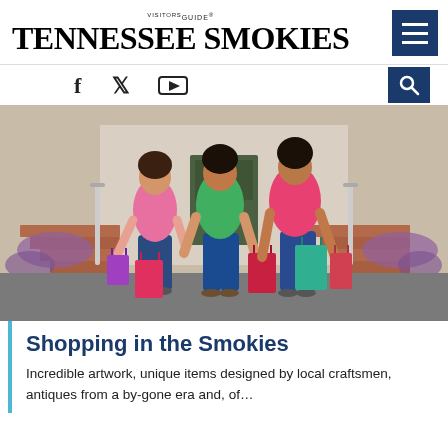Tennessee Smokies Visitors Guide
[Figure (photo): Three women carrying colorful shopping bags walking outdoors in front of brick steps and railing, smiling. One wears pink, one green, one coral/pink top, all in jeans.]
Shopping in the Smokies
Incredible artwork, unique items designed by local craftsmen, antiques from a by-gone era and, of...